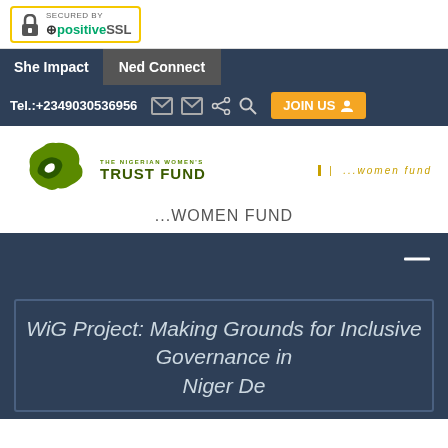[Figure (logo): Secured by PositiveSSL badge with lock icon and yellow border]
She Impact   Ned Connect
Tel.:+2349030536956   [icons]   JOIN US
[Figure (logo): The Nigerian Women's Trust Fund logo with map of Nigeria and green text. Right side shows '...women fund' in gold italic text.]
...WOMEN FUND
[Figure (screenshot): Dark blue navigation menu bar with white dash/hamburger icon on right]
WiG Project: Making Grounds for Inclusive Governance in Niger Delta